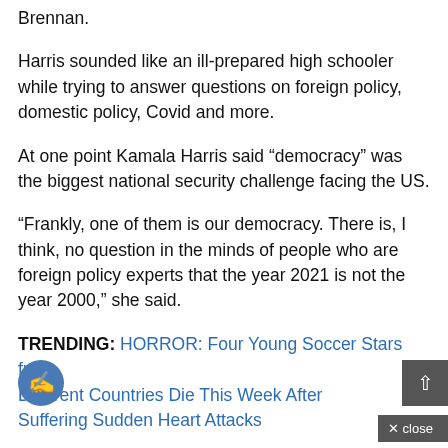Brennan.
Harris sounded like an ill-prepared high schooler while trying to answer questions on foreign policy, domestic policy, Covid and more.
At one point Kamala Harris said “democracy” was the biggest national security challenge facing the US.
“Frankly, one of them is our democracy. There is, I think, no question in the minds of people who are foreign policy experts that the year 2021 is not the year 2000,” she said.
TRENDING: HORROR: Four Young Soccer Stars from Different Countries Die This Week After Suffering Sudden Heart Attacks